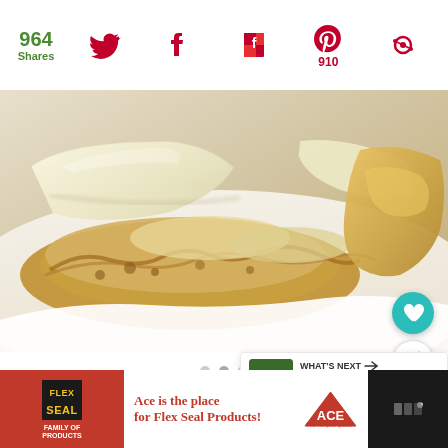964 Shares — social share bar with Twitter, Facebook, Flipboard, Pinterest (910), and other icon
[Figure (photo): Close-up photo of a baked pasta or lasagna dish with melted cheese slabs on a white plate, golden-brown crispy edges visible, creamy sauce underneath]
[Figure (infographic): Floating action buttons: teal heart/favorite button and white share button on right side; dots navigation indicator at bottom; What's Next card showing Italian Rainbow... with thumbnail image]
[Figure (infographic): Ad banner at bottom: Flex Seal Family of Products logo on red background, ACE Hardware advertisement text 'Ace is the place for Flex Seal Products!' with ACE logo, and app/widget icon on dark background]